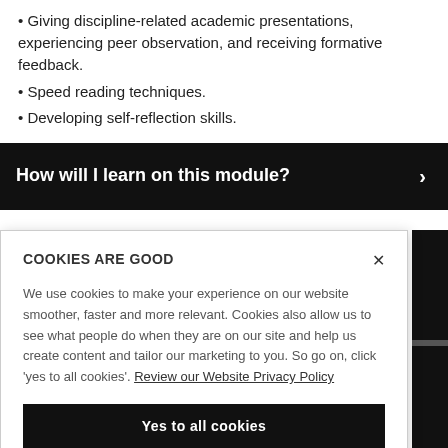Giving discipline-related academic presentations, experiencing peer observation, and receiving formative feedback.
Speed reading techniques.
Developing self-reflection skills.
How will I learn on this module?
COOKIES ARE GOOD
We use cookies to make your experience on our website smoother, faster and more relevant. Cookies also allow us to see what people do when they are on our site and help us create content and tailor our marketing to you. So go on, click 'yes to all cookies'. Review our Website Privacy Policy